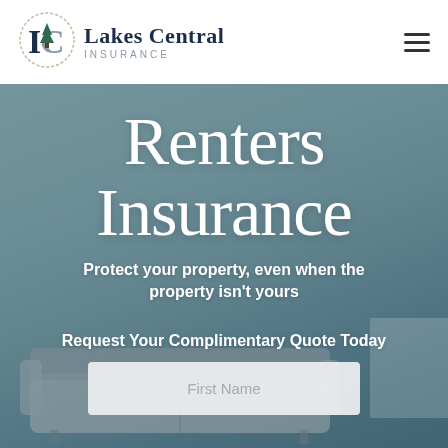[Figure (logo): Lakes Central Insurance logo with stylized LC emblem and pine tree icon]
Renters Insurance
Protect your property, even when the property isn't yours
Request Your Complimentary Quote Today
First Name